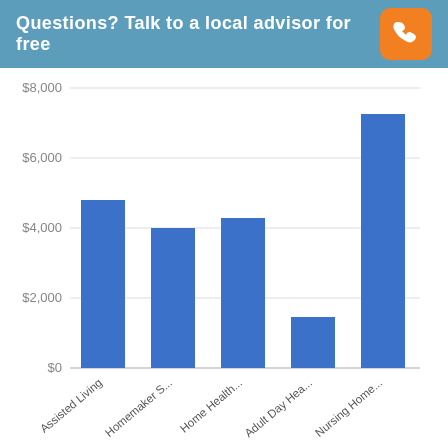Questions? Talk to a local advisor for free
[Figure (bar-chart): ]